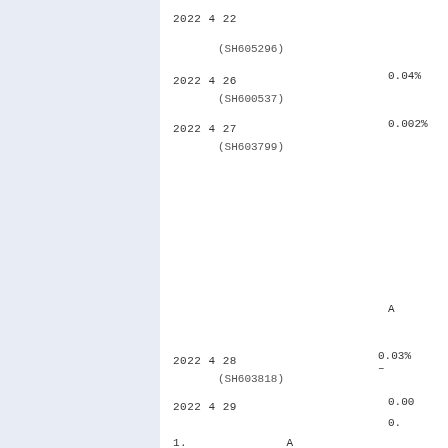2022 4 22
(SH605296)
2022 4 26    0.04%
(SH600537)
2022 4 27    0.002%
(SH603799)
A
2022 4 28    0.03% –
(SH603818)
2022 4 29    0.00
0.
1.    A